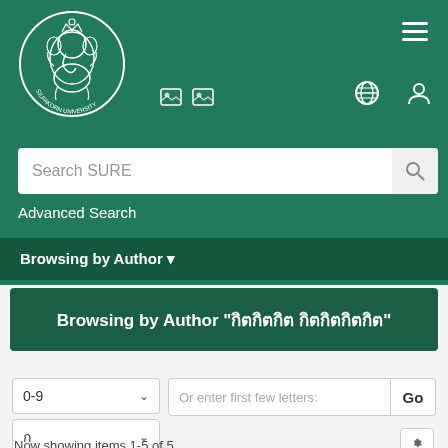[Figure (logo): Silpakorn University circular logo with Ganesha figure, white on teal background]
Search SURE
Advanced Search
Browsing by Author ▾
Browsing by Author "กิตกิตกิต กิตกิตกิตกิต"
0-9
Or enter first few letters:
Go
Now showing items 1-5 of 5